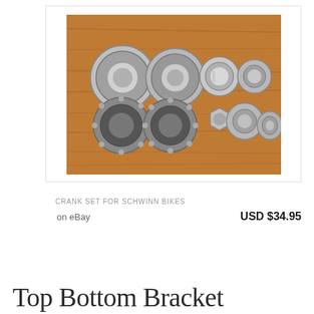[Figure (photo): A photograph on a wooden background showing bicycle bottom bracket parts: two large bearing cups, two smaller cups/lockrings, two ball bearing retainer rings, a hex nut, two medium rings, and a thin washer arranged in two rows.]
CRANK SET FOR SCHWINN BIKES
on eBay
USD $34.95
Top Bottom Bracket